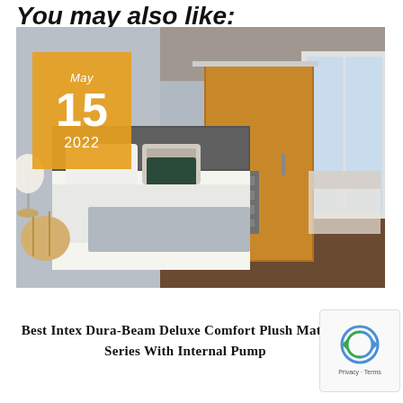You may also like:
[Figure (photo): Bedroom interior photo with date badge overlay showing May 15 2022. Room features a bed with white bedding and dark throw pillow, a wooden bedside table with lamp, a wood-paneled wardrobe, and a window with city view.]
Best Intex Dura-Beam Deluxe Comfort Plush Mattress Series With Internal Pump